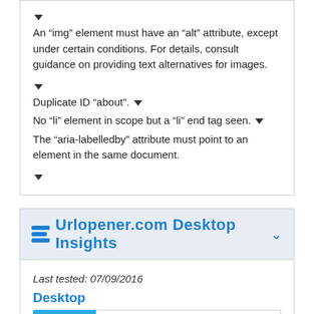An “img” element must have an “alt” attribute, except under certain conditions. For details, consult guidance on providing text alternatives for images.
Duplicate ID “about”.
No “li” element in scope but a “li” end tag seen.
The “aria-labelledby” attribute must point to an element in the same document.
Urlopener.com Desktop Insights
Last tested: 07/09/2016
Desktop
[Figure (infographic): Desktop speed infographic showing speedometer icon in blue and DESKTOP SPEED label]